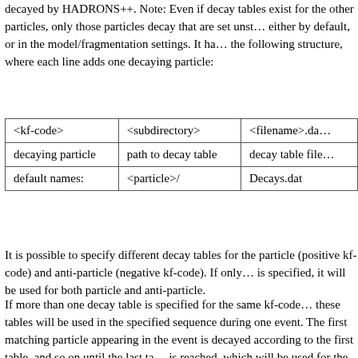decayed by HADRONS++. Note: Even if decay tables exist for the other particles, only those particles decay that are set unstable either by default, or in the model/fragmentation settings. It has the following structure, where each line adds one decaying particle:
| <kf-code> | <subdirectory> | <filename>.dat |
| --- | --- | --- |
| decaying particle | path to decay table | decay table file |
| default names: | <particle>/ | Decays.dat |
It is possible to specify different decay tables for the particle (positive kf-code) and anti-particle (negative kf-code). If only one is specified, it will be used for both particle and anti-particle.
If more than one decay table is specified for the same kf-code, these tables will be used in the specified sequence during one event. The first matching particle appearing in the event is decayed according to the first table, and so on until the last table is reached, which will be used for the remaining particles of the